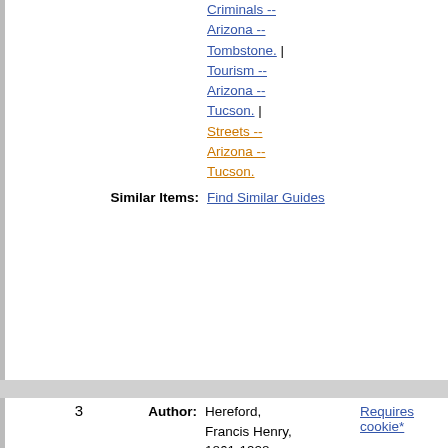Criminals -- Arizona -- Tombstone. | Tourism -- Arizona -- Tucson. | Streets -- Arizona -- Tucson.
Similar Items: Find Similar Guides
3   Author: Hereford, Francis Henry, 1861-1928   Requires cookie*
Title: Francis Henry Hereford papers, 1877-1929 (bulk 1890-1919) ead
Date(s): 1877-1929 (bulk 1890-1919)
Abstract: This collection contains correspondence, legal papers, and financial records relating to his law practice, chiefly